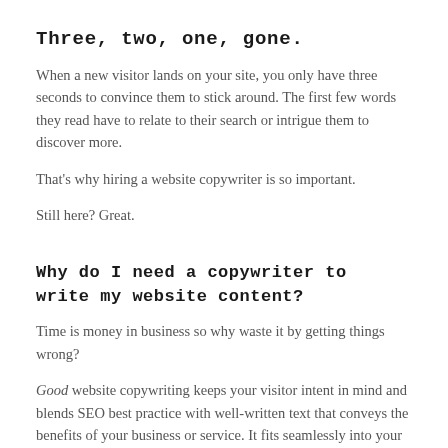Three, two, one, gone.
When a new visitor lands on your site, you only have three seconds to convince them to stick around. The first few words they read have to relate to their search or intrigue them to discover more.
That's why hiring a website copywriter is so important.
Still here? Great.
Why do I need a copywriter to write my website content?
Time is money in business so why waste it by getting things wrong?
Good website copywriting keeps your visitor intent in mind and blends SEO best practice with well-written text that conveys the benefits of your business or service. It fits seamlessly into your design requirements and leads to